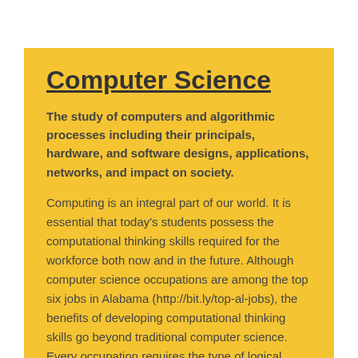Computer Science
The study of computers and algorithmic processes including their principals, hardware, and software designs, applications, networks, and impact on society.
Computing is an integral part of our world. It is essential that today's students possess the computational thinking skills required for the workforce both now and in the future. Although computer science occupations are among the top six jobs in Alabama (http://bit.ly/top-al-jobs), the benefits of developing computational thinking skills go beyond traditional computer science. Every occupation requires the type of logical reasoning and analytical problem-solving that may be developed by a computational mindset. Beyond these occupational needs, a computational mindset helps